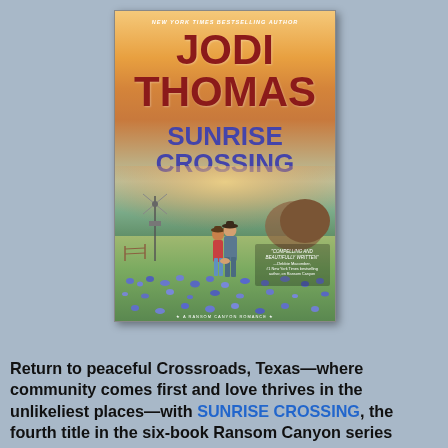[Figure (illustration): Book cover of 'Sunrise Crossing' by Jodi Thomas. A New York Times Bestselling Author. Features two people standing in a field of bluebonnets with a windmill in the background. Subtitle: A Ransom Canyon Romance. Blurb: 'Compelling and Beautifully Written' - Debbie Macomber, #1 New York Times bestselling author, on Ransom Canyon.]
Return to peaceful Crossroads, Texas—where community comes first and love thrives in the unlikeliest places—with SUNRISE CROSSING, the fourth title in the six-book Ransom Canyon series.